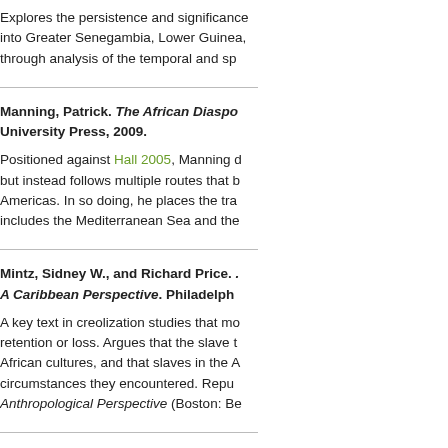Explores the persistence and significance of African ethnic identities, dividing Africa into Greater Senegambia, Lower Guinea, and other regions, and analyzes slave trade data through analysis of the temporal and spatial distribution of enslaved Africans.
Manning, Patrick. The African Diaspora. New York: Columbia University Press, 2009.
Positioned against Hall 2005, Manning does not focus on a single African region but instead follows multiple routes that brought enslaved Africans to the Americas. In so doing, he places the transatlantic slave trade in a wider context that includes the Mediterranean Sea and the Indian Ocean.
Mintz, Sidney W., and Richard Price. The Birth of African-American Culture: An Anthropological Perspective, A Caribbean Perspective. Philadelphia:
A key text in creolization studies that moves beyond a simple binary of African cultural retention or loss. Argues that the slave trade deliberately mixed individuals from different African cultures, and that slaves in the Americas created new cultures in response to the circumstances they encountered. Republished as The Birth of African-American Culture: An Anthropological Perspective (Boston: Be
Richter, Daniel. Facing East from Ind...